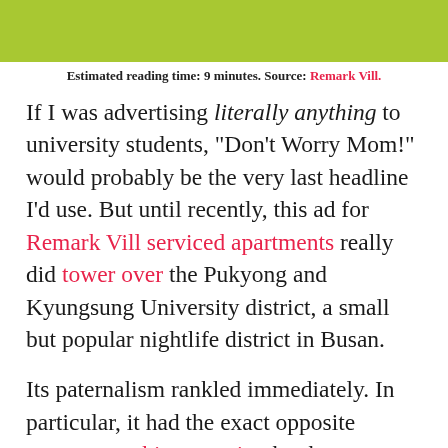[Figure (photo): Top portion of a photo with a green/lime background, partial view of a hand gesture]
Estimated reading time: 9 minutes. Source: Remark Vill.
If I was advertising literally anything to university students, “Don’t Worry Mom!” would probably be the very last headline I’d use. But until recently, this ad for Remark Vill serviced apartments really did tower over the Pukyong and Kyungsung University district, a small but popular nightlife district in Busan.
Its paternalism rankled immediately. In particular, it had the exact opposite message to this campaign by the accomodation-finding app Zigbang, which trumpeted the